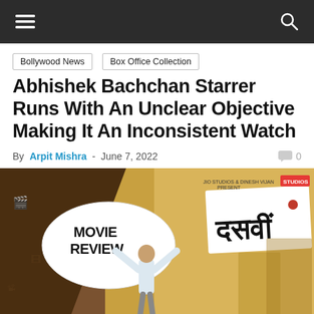Navigation bar with hamburger menu and search icon
Bollywood News
Box Office Collection
Abhishek Bachchan Starrer Runs With An Unclear Objective Making It An Inconsistent Watch
By Arpit Mishra - June 7, 2022   0
[Figure (photo): Movie Review banner for Dasvi featuring a man with arms raised against a yellow background with Hindi text]